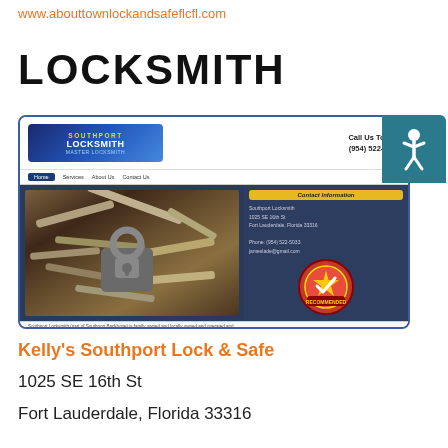www.abouttownlockandsafeflcfl.com
LOCKSMITH
[Figure (screenshot): Screenshot of Southport Locksmith website showing logo, navigation, keys and padlock image, contact information, and recommended badge. Phone: (954) 522-5033]
Kelly's Southport Lock & Safe
1025 SE 16th St
Fort Lauderdale, Florida 33316